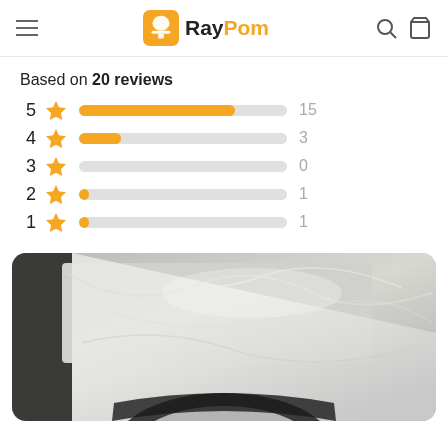RayPom
Based on 20 reviews
[Figure (bar-chart): Rating distribution]
[Figure (photo): Product wrapped in plastic packaging, showing a round item partially visible at bottom]